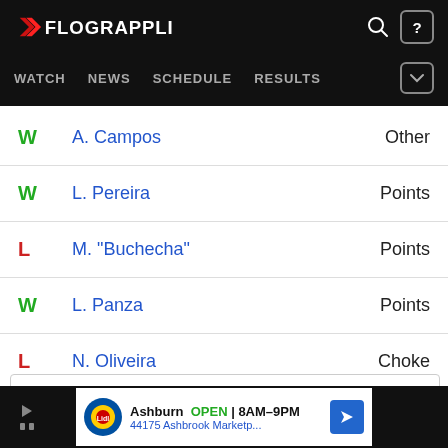FLOGRAPPLING — WATCH NEWS SCHEDULE RESULTS
W  A. Campos  Other
W  L. Pereira  Points
L  M. "Buchecha"  Points
W  L. Panza  Points
L  N. Oliveira  Choke
☆ Favorite
Ashburn OPEN 8AM–9PM 44175 Ashbrook Marketp...